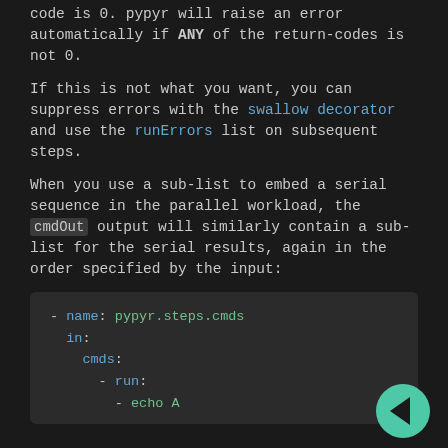you don't need to set it, just to check that the return code is 0. pypyr will raise an error automatically if ANY of the return-codes is not 0.
If this is not what you want, you can suppress errors with the swallow decorator and use the runErrors list on subsequent steps.
When you use a sub-list to embed a serial sequence in the parallel workload, the cmdOut output will similarly contain a sub-list for the serial results, again in the order specified by the input:
[Figure (screenshot): Code block showing YAML with: - name: pypyr.steps.cmds, in:, cmds:, - run:, - echo A]